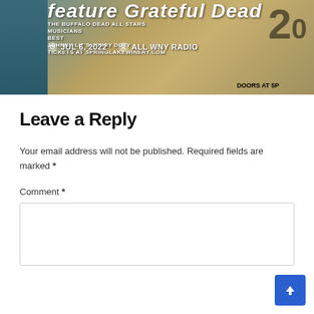[Figure (photo): Concert/event promotional image for Buffalo Dead All Stars with Grateful Dead theme. Shows a skull graphic on left, event text including 'THE BUFFALO DEAD ALL STARS', date 'JUL 6, 2022', author 'ALL WNY RADIO', ticket info 'TICKETS AT SPRINGLAKEWINERY.COM', 'DOORS AT 5P', and a large '20' or '2' graphic on the right.]
Leave a Reply
Your email address will not be published. Required fields are marked *
Comment *